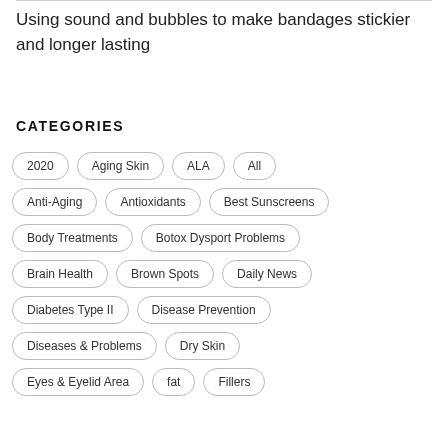Using sound and bubbles to make bandages stickier and longer lasting
CATEGORIES
2020
Aging Skin
ALA
All
Anti-Aging
Antioxidants
Best Sunscreens
Body Treatments
Botox Dysport Problems
Brain Health
Brown Spots
Daily News
Diabetes Type II
Disease Prevention
Diseases & Problems
Dry Skin
Eyes & Eyelid Area
fat
Fillers